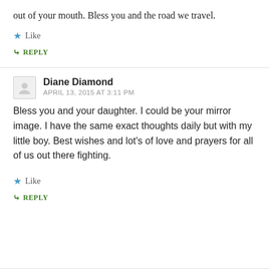out of your mouth. Bless you and the road we travel.
★ Like
↳ REPLY
Diane Diamond
APRIL 13, 2015 AT 3:11 PM
Bless you and your daughter. I could be your mirror image. I have the same exact thoughts daily but with my little boy. Best wishes and lot's of love and prayers for all of us out there fighting.
★ Like
↳ REPLY